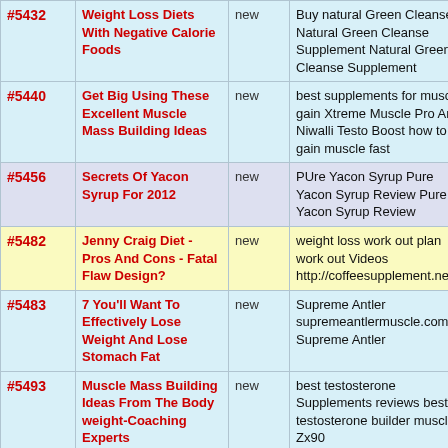| # | Title | Status | Description | Extra |
| --- | --- | --- | --- | --- |
| #5432 | Weight Loss Diets With Negative Calorie Foods | new | Buy natural Green Cleanse Natural Green Cleanse Supplement Natural Green Cleanse Supplement | som |
| #5440 | Get Big Using These Excellent Muscle Mass Building Ideas | new | best supplements for muscle gain Xtreme Muscle Pro And Niwalli Testo Boost how to gain muscle fast | som |
| #5456 | Secrets Of Yacon Syrup For 2012 | new | PUre Yacon Syrup Pure Yacon Syrup Review Pure Yacon Syrup Review | som |
| #5482 | Jenny Craig Diet - Pros And Cons - Fatal Flaw Design? | new | weight loss work out plan work out Videos http://coffeesupplement.net/ | som |
| #5483 | 7 You'll Want To Effectively Lose Weight And Lose Stomach Fat | new | Supreme Antler supremeantlermuscle.com Supreme Antler | som |
| #5493 | Muscle Mass Building Ideas From The Body weight-Coaching Experts | new | best testosterone Supplements reviews best testosterone builder muscle Zx90 | som |
← 1 2 3 4 5 6 7 8 9 10 11 12 13 14 15 →